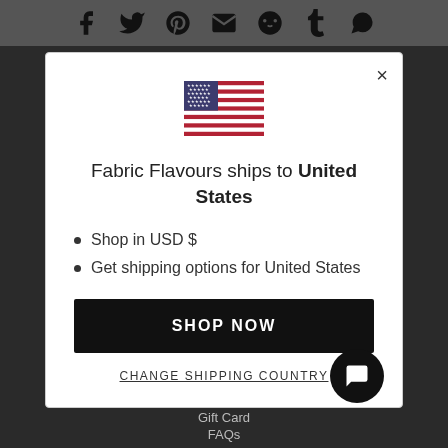Social share icons bar (Facebook, Twitter, Pinterest, Email, Reddit, Tumblr, WhatsApp)
[Figure (screenshot): US flag emoji icon centered in modal]
Fabric Flavours ships to United States
Shop in USD $
Get shipping options for United States
SHOP NOW
CHANGE SHIPPING COUNTRY
Gift Card  FAQs